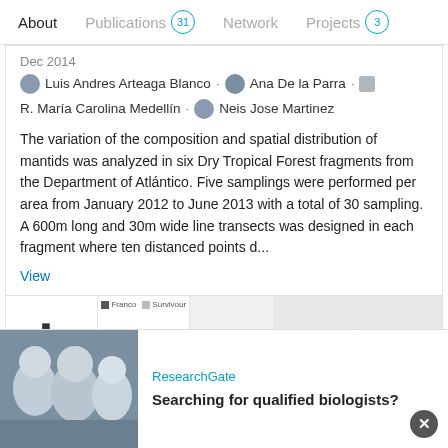About  Publications 31  Network  Projects 3
Dec 2014
Luis Andres Arteaga Blanco · Ana De la Parra · R. María Carolina Medellín · Neis Jose Martinez
The variation of the composition and spatial distribution of mantids was analyzed in six Dry Tropical Forest fragments from the Department of Atlántico. Five samplings were performed per area from January 2012 to June 2013 with a total of 30 sampling. A 600m long and 30m wide line transects was designed in each fragment where ten distanced points d...
View
[Figure (bar-chart): Small bar chart thumbnail showing grey bars of varying heights]
[Figure (bar-chart): Small grouped bar chart thumbnail with legend showing Franco and Survivour series]
[Figure (other): Advertisement placeholder]
[Figure (other): Light grey thumbnail]
[Figure (other): Light grey thumbnail]
ResearchGate
Searching for qualified biologists?